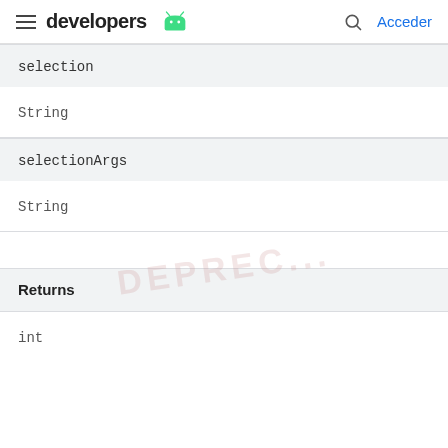developers [Android logo] | Acceder
| selection | String |
| selectionArgs | String |
| Returns | int |
int